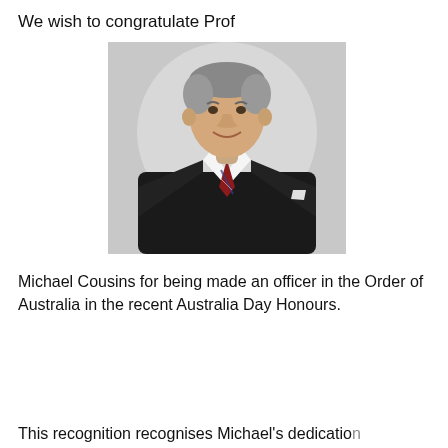We wish to congratulate Prof
[Figure (photo): Professional headshot of an older gentleman with grey hair, wearing a black suit, white shirt, and red striped tie, against a light grey background.]
Michael Cousins for being made an officer in the Order of Australia in the recent Australia Day Honours.
This recognition recognises Michael's dedication